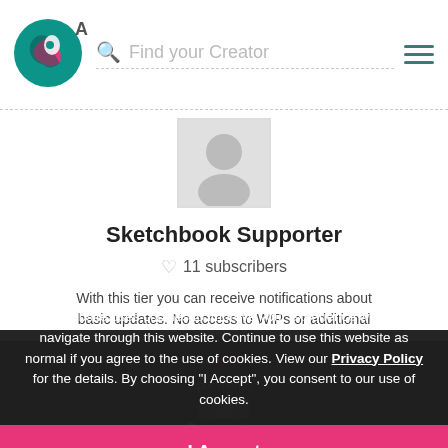A  Find your Creator
[Figure (illustration): Partially visible user avatar placeholder - gray circle with generic person silhouette]
Sketchbook Supporter
11 subscribers
With this tier you can receive notifications about basic updates. No access to WIPs or additional content.
Unlock
This website uses cookies to improve your experience while you navigate through this website. Continue to use this website as normal if you agree to the use of cookies. View our Privacy Policy for the details. By choosing "I Accept", you consent to our use of cookies.
I Accept
$3
per month
Co[ntent Creat]or
0 subscribers